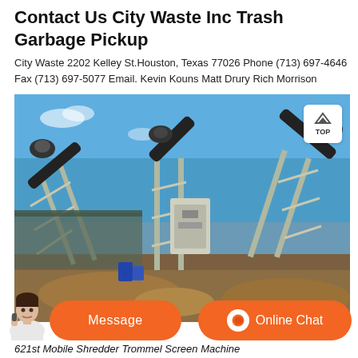Contact Us City Waste Inc Trash Garbage Pickup
City Waste 2202 Kelley St.Houston, Texas 77026 Phone (713) 697-4646 Fax (713) 697-5077 Email. Kevin Kouns Matt Drury Rich Morrison
[Figure (photo): Industrial waste processing facility with multiple conveyor belts and sorting equipment under a blue sky, surrounded by gravel and earth piles.]
621st Mobile Shredder Trommel Screen Machine